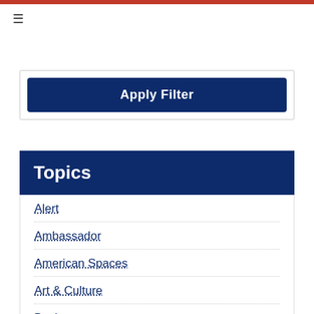≡
[Figure (screenshot): Apply Filter button — dark navy blue rounded rectangle button with white text 'Apply Filter']
Topics
Alert
Ambassador
American Spaces
Art & Culture
Business
Chargé D'Affaires
Child and Family Matters
Commercial Affairs
Show More ∨